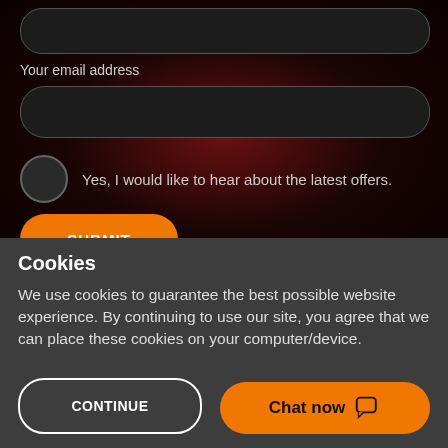[Figure (screenshot): Dark background form section with rounded input boxes]
Your email address
Yes, I would like to hear about the latest offers.
SUBMIT
Van leasing made simple™ is a trading name of AFL (Fleet
Cookies
We use cookies to guarantee the best possible website experience. By continuing to use our site, you agree that we can place these cookies on your computer/device.
CONTINUE
Chat now